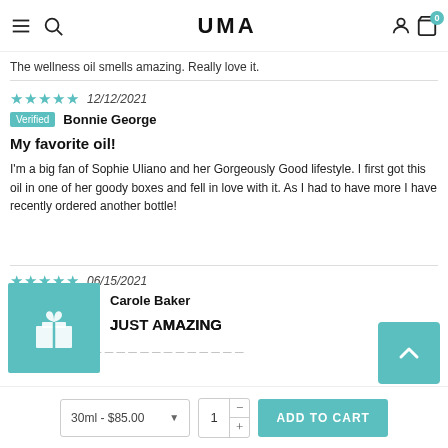UMA
The wellness oil smells amazing. Really love it.
★★★★★ 12/12/2021
Verified  Bonnie George
My favorite oil!
I'm a big fan of Sophie Uliano and her Gorgeously Good lifestyle. I first got this oil in one of her goody boxes and fell in love with it. As I had to have more I have recently ordered another bottle!
★★★★★ 06/15/2021
Carole Baker
JUST AMAZING
...
30ml - $85.00  1  ADD TO CART